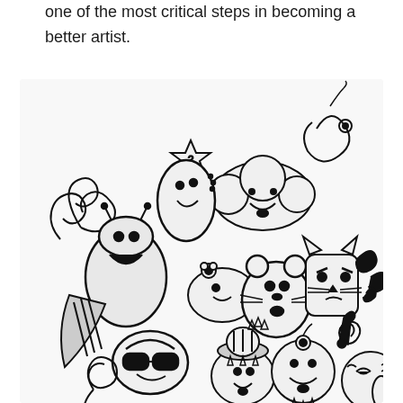one of the most critical steps in becoming a better artist.
[Figure (illustration): Black and white doodle art illustration featuring a crowd of cartoon characters including cute blob monsters, a cat, a cloud character, a character wearing sunglasses, various round creatures with faces, spirals, stars, and decorative elements, all drawn in ink with detailed line work.]